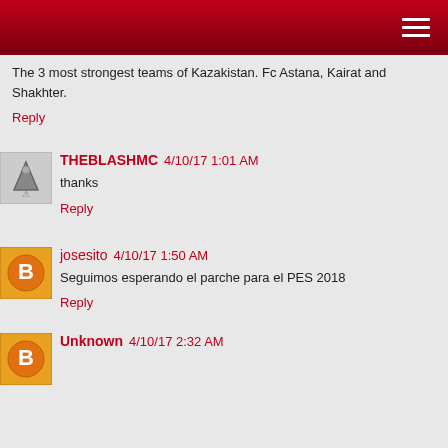The 3 most strongest teams of Kazakistan. Fc Astana, Kairat and Shakhter.
Reply
THEBLASHMC  4/10/17 1:01 AM
thanks
Reply
josesito  4/10/17 1:50 AM
Seguimos esperando el parche para el PES 2018
Reply
Unknown  4/10/17 2:32 AM